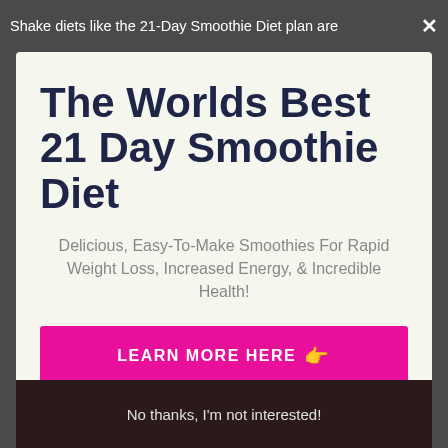Shake diets like the 21-Day Smoothie Diet plan are ×
The Worlds Best 21 Day Smoothie Diet
Delicious, Easy-To-Make Smoothies For Rapid Weight Loss, Increased Energy, & Incredible Health!
LEARN MORE HERE 👉
No thanks, I'm not interested!